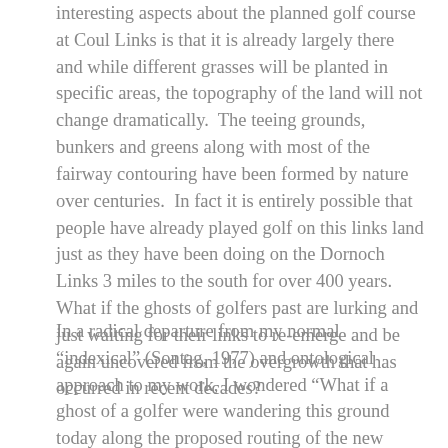interesting aspects about the planned golf course at Coul Links is that it is already largely there and while different grasses will be planted in specific areas, the topography of the land will not change dramatically.  The teeing grounds, bunkers and greens along with most of the fairway contouring have been formed by nature over centuries.  In fact it is entirely possible that people have already played golf on this links land just as they have been doing on the Dornoch Links 3 miles to the south for over 400 years.  What if the ghosts of golfers past are lurking and just waiting for their links to re-emerge and be again uncovered from the overgrowth that has occurred in recent decades?
In a radical departure from my normal “indexical” (Sontag, 1977) and ontological approach to my work, I wondered “What if a ghost of a golfer were wandering this ground today along the proposed routing of the new course?”  An idea for a variation on repeat photography formed in my